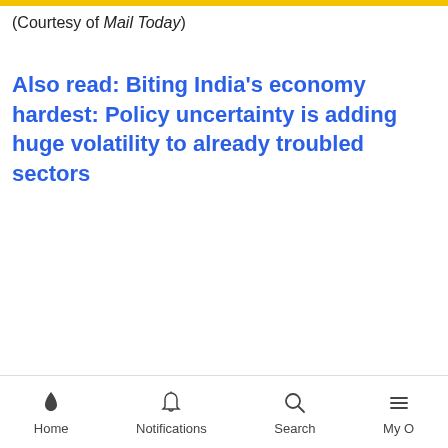(Courtesy of Mail Today)
Also read: Biting India's economy hardest: Policy uncertainty is adding huge volatility to already troubled sectors
Home  Notifications  Search  My O